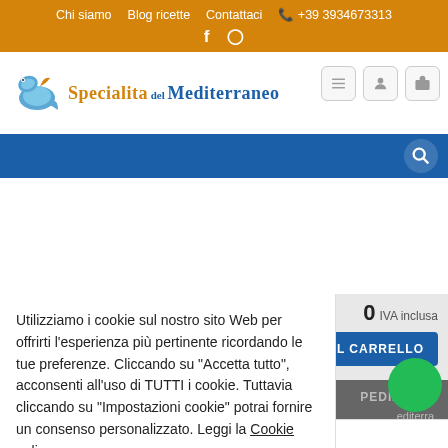Chi siamo  Blog ricette  Contattaci  +39 3934673313
[Figure (logo): Specialita del Mediterraneo logo with dolphin/fish graphic]
[Figure (screenshot): Blue navigation bar with search icon]
Utilizziamo i cookie sul nostro sito Web per offrirti l'esperienza più pertinente ricordando le tue preferenze. Cliccando su "Accetta tutto", acconsenti all'uso di TUTTI i cookie. Tuttavia cliccando su "Impostazioni cookie" potrai fornire un consenso personalizzato. Leggi la Cookie policy
Impostazioni Cookie
Accetta tutti
Rifiuta tutti
Mobile: +39 3934673313